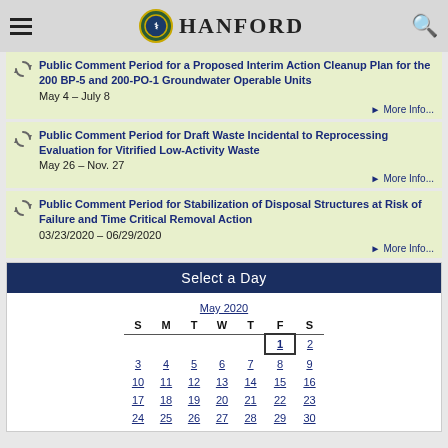Hanford
Public Comment Period for a Proposed Interim Action Cleanup Plan for the 200 BP-5 and 200-PO-1 Groundwater Operable Units
May 4 – July 8
More Info...
Public Comment Period for Draft Waste Incidental to Reprocessing Evaluation for Vitrified Low-Activity Waste
May 26 – Nov. 27
More Info...
Public Comment Period for Stabilization of Disposal Structures at Risk of Failure and Time Critical Removal Action
03/23/2020 – 06/29/2020
More Info...
Select a Day
| S | M | T | W | T | F | S |
| --- | --- | --- | --- | --- | --- | --- |
|  |  |  |  |  | 1 | 2 |
| 3 | 4 | 5 | 6 | 7 | 8 | 9 |
| 10 | 11 | 12 | 13 | 14 | 15 | 16 |
| 17 | 18 | 19 | 20 | 21 | 22 | 23 |
| 24 | 25 | 26 | 27 | 28 | 29 | 30 |